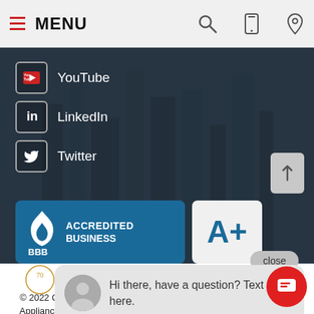MENU
YouTube
LinkedIn
Twitter
[Figure (logo): BBB Accredited Business badge with A+ rating]
Hi there, have a question? Text us here.
[Figure (logo): Queen City Audio Video Appliances logo]
© 2022 Queen City Audio Video Appliances All Rights Reserved.
Welcome to our website! As we have the ability to list over one million items on our website (our selection changes all of the time), it is not